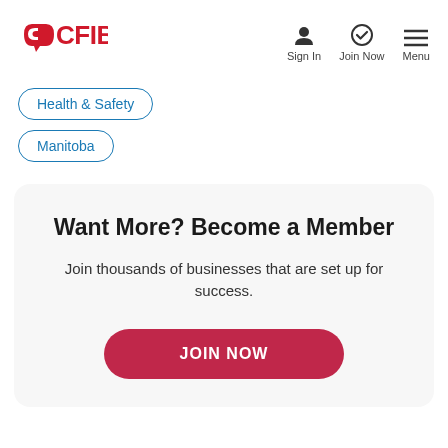[Figure (logo): CFIB logo in red with speech bubble C]
[Figure (infographic): Navigation icons: person silhouette (Sign In), checkmark circle (Join Now), hamburger menu (Menu)]
Health & Safety
Manitoba
Want More? Become a Member
Join thousands of businesses that are set up for success.
JOIN NOW